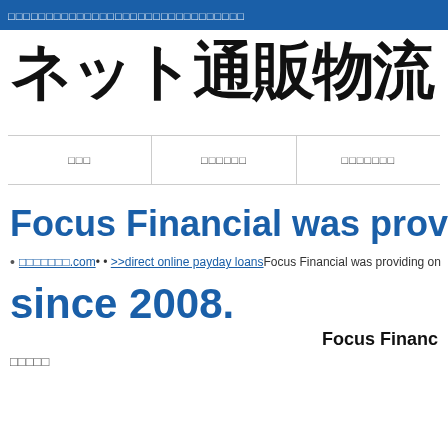ネット通販物流.com (header bar text)
ネット通販物流．ドッド（co）
サービス / お申し込み / お問い合わせ (nav items)
Focus Financial was providing on...
ネット通販物流.com • • >>direct online payday loans Focus Financial was providing on...
since 2008.
Focus Financ...